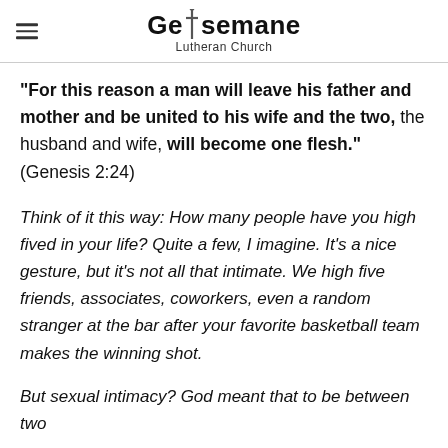Gethsemane Lutheran Church
“For this reason a man will leave his father and mother and be united to his wife and the two, the husband and wife, will become one flesh.” (Genesis 2:24)
Think of it this way: How many people have you high fived in your life? Quite a few, I imagine. It’s a nice gesture, but it’s not all that intimate. We high five friends, associates, coworkers, even a random stranger at the bar after your favorite basketball team makes the winning shot.
But sexual intimacy? God meant that to be between two